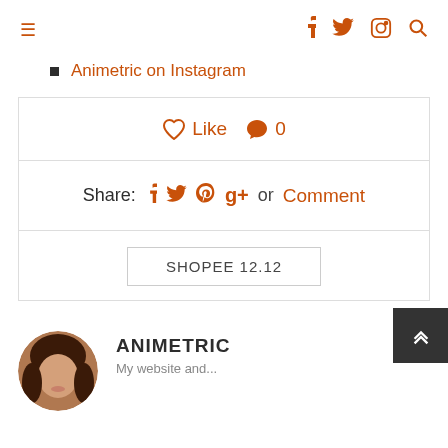≡  f  𝕏  📷  🔍
Animetric on Instagram
♡ Like  💬 0
Share: f 𝕏 𝕡 g+ or Comment
SHOPEE 12.12
ANIMETRIC
My website and...